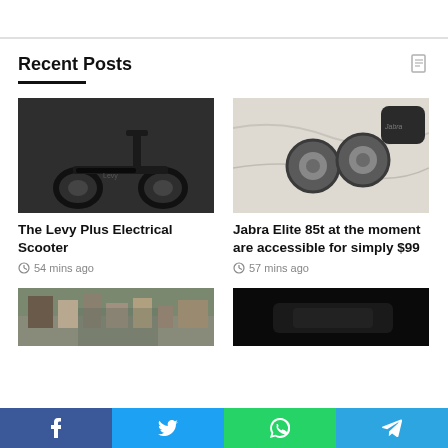Recent Posts
[Figure (photo): Black electric scooter (Levy Plus) on dark gray background]
The Levy Plus Electrical Scooter
54 mins ago
[Figure (photo): Jabra Elite 85t wireless earbuds on marble surface with charging case]
Jabra Elite 85t at the moment are accessible for simply $99
57 mins ago
[Figure (photo): City street with buildings and trees]
[Figure (photo): Dark product photo on black background]
f  t  WhatsApp  Telegram